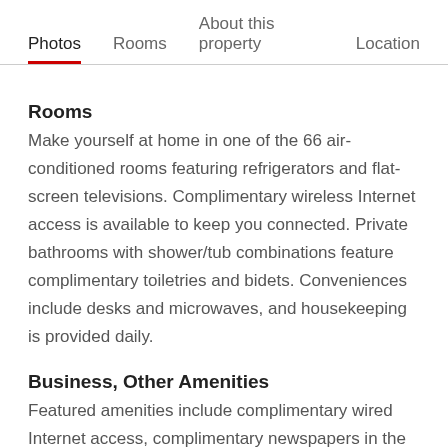Photos  Rooms  About this property  Location
Rooms
Make yourself at home in one of the 66 air-conditioned rooms featuring refrigerators and flat-screen televisions. Complimentary wireless Internet access is available to keep you connected. Private bathrooms with shower/tub combinations feature complimentary toiletries and bidets. Conveniences include desks and microwaves, and housekeeping is provided daily.
Business, Other Amenities
Featured amenities include complimentary wired Internet access, complimentary newspapers in the lobby, and a 24-hour front desk. Free self parking is available onsite.